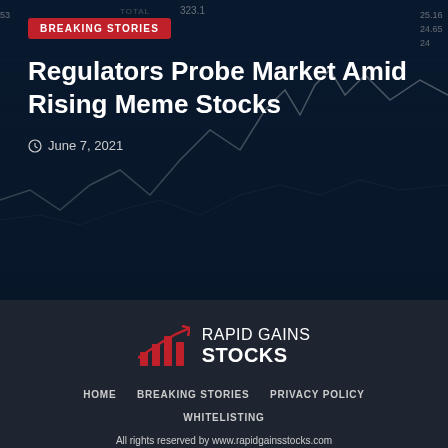[Figure (screenshot): Stock market chart background showing line chart with values like 25.16, 24.65 visible, dark blue background]
BREAKING STORIES
Regulators Probe Market Amid Rising Meme Stocks
June 7, 2021
[Figure (logo): Rapid Gains Stocks logo with red bar chart icon and arrow]
HOME   BREAKING STORIES   PRIVACY POLICY   WHITELISTING
All rights reserved by www.rapidgainsstocks.com